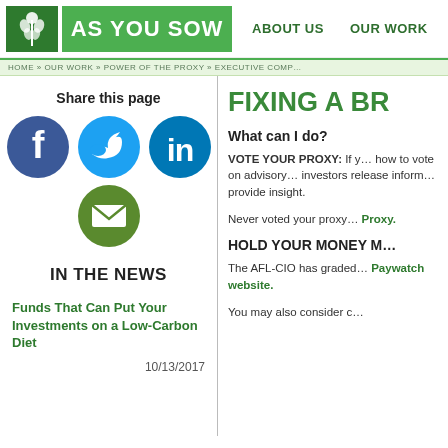AS YOU SOW | ABOUT US | OUR WORK
HOME » OUR WORK » POWER OF THE PROXY » EXECUTIVE COMP…
[Figure (illustration): Share this page social icons: Facebook (blue circle), Twitter (light blue circle), LinkedIn (blue circle), Email (green circle)]
IN THE NEWS
Funds That Can Put Your Investments on a Low-Carbon Diet
10/13/2017
FIXING A BR…
What can I do?
VOTE YOUR PROXY: If y… how to vote on advisory… investors release inform… provide insight.
Never voted your proxy… Proxy.
HOLD YOUR MONEY M…
The AFL-CIO has graded… Paywatch website.
You may also consider c…